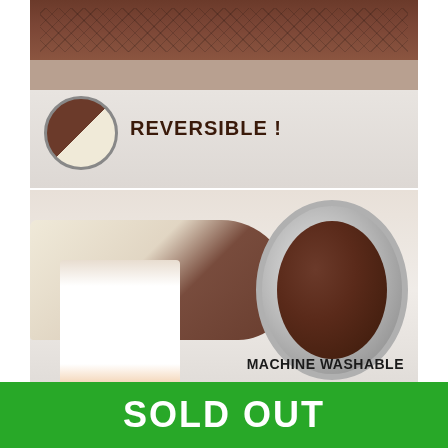[Figure (photo): Brown reversible quilted sofa cover shown on a couch, with a circular inset showing the two-sided fabric. Text overlay reads REVERSIBLE!]
[Figure (photo): Person pulling a brown and beige quilted cover out of a front-loading washing machine. Text overlay reads MACHINE WASHABLE]
[Figure (photo): Partial bottom strip showing furniture/room scene with navy curtains and a teal arrow button]
SOLD OUT